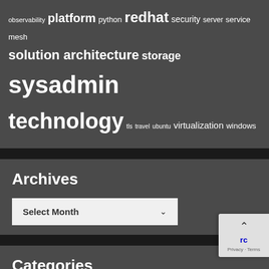observability platform python redhat security server service mesh solution architecture storage sysadmin technology tls travel ubuntu virtualization windows
Archives
Select Month
Categories